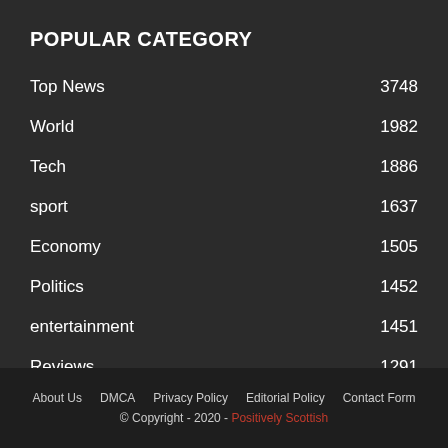POPULAR CATEGORY
Top News 3748
World 1982
Tech 1886
sport 1637
Economy 1505
Politics 1452
entertainment 1451
Reviews 1291
Games 6
About Us  DMCA  Privacy Policy  Editorial Policy  Contact Form
© Copyright - 2020 - Positively Scottish